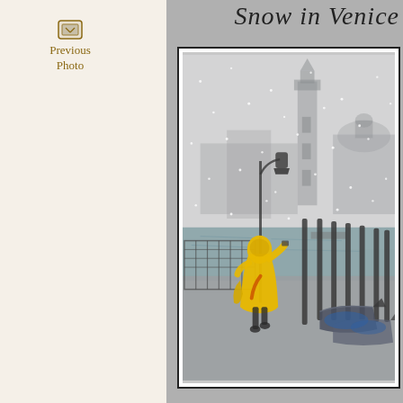Snow in Venice
Previous Photo
[Figure (photo): A person in a yellow raincoat standing on a flooded Venice waterfront in snowfall, with gondolas moored nearby and the San Giorgio Maggiore bell tower visible in the misty background.]